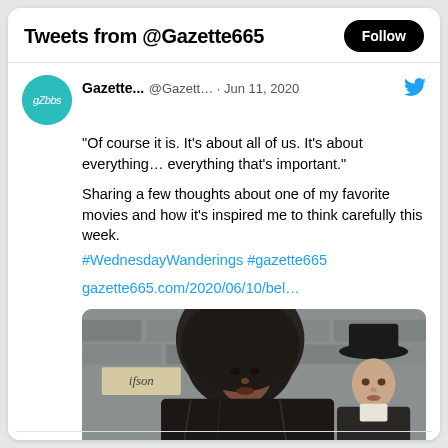Tweets from @Gazette665
Gazette... @Gazett... · Jun 11, 2020
"Of course it is. It's about all of us. It's about everything… everything that's important."

Sharing a few thoughts about one of my favorite movies and how it's inspired me to think carefully this week. #WednesdayWanderings #gazette665

gazette665.com/2020/06/10/bel…
[Figure (photo): Movie still showing two people: a woman with dark hair covered by a dark hood/wrap in the foreground, and a man in period costume with a black hat in the background. A stone building and a sign reading 'ifson' are visible.]